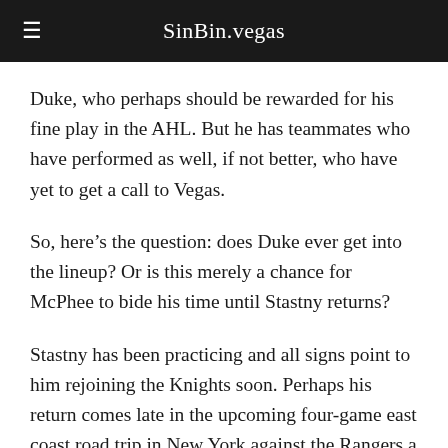SinBin.vegas
Duke, who perhaps should be rewarded for his fine play in the AHL. But he has teammates who have performed as well, if not better, who have yet to get a call to Vegas.
So, here’s the question: does Duke ever get into the lineup? Or is this merely a chance for McPhee to bide his time until Stastny returns?
Stastny has been practicing and all signs point to him rejoining the Knights soon. Perhaps his return comes late in the upcoming four-game east coast road trip in New York against the Rangers a week from today or the following night in Columbus against the Blue Jackets.